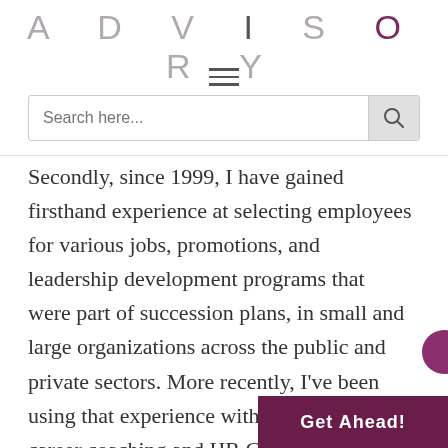ADVISORY
[Figure (screenshot): Hamburger menu icon (three horizontal lines)]
[Figure (screenshot): Search input bar with search icon button]
Secondly, since 1999, I have gained firsthand experience at selecting employees for various jobs, promotions, and leadership development programs that were part of succession plans, in small and large organizations across the public and private sectors. More recently, I've been using that experience within the context of career coaching and HR Consulting.
Finally, I've advised other leaders and held leadership r...
[Figure (other): Purple 'Get Ahead!' button in bottom right corner]